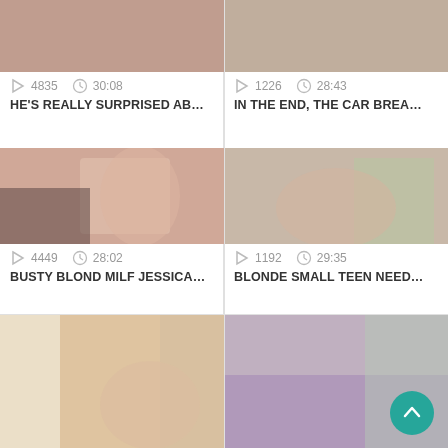[Figure (screenshot): Top row: two video thumbnails (adult content, cropped at top)]
4835   30:08
HE'S REALLY SURPRISED AB…
1226   28:43
IN THE END, THE CAR BREA…
[Figure (screenshot): Middle row left: blonde woman video thumbnail]
4449   28:02
BUSTY BLOND MILF JESSICA…
[Figure (screenshot): Middle row right: blonde woman video thumbnail]
1192   29:35
BLONDE SMALL TEEN NEED…
[Figure (screenshot): Bottom row: two more video thumbnails (partially visible)]